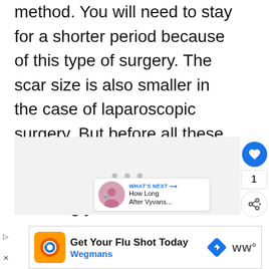method. You will need to stay for a shorter period because of this type of surgery. The scar size is also smaller in the case of laparoscopic surgery. But before all these ask your doctor which one will give the best result following your health.
[Figure (screenshot): Gray advertisement placeholder area with three dots indicating loading content, a heart/like button (blue circle, count 1), a share button, and a 'What's Next' widget showing a thumbnail and text 'How Long After Vyvans...']
[Figure (infographic): Advertisement banner: Get Your Flu Shot Today - Wegmans, with orange logo, blue navigation arrow, and Ww logo]